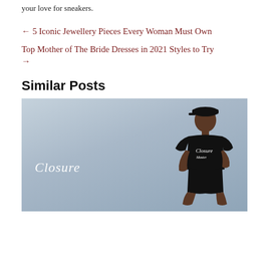your love for sneakers.
← 5 Iconic Jewellery Pieces Every Woman Must Own
Top Mother of The Bride Dresses in 2021 Styles to Try →
Similar Posts
[Figure (photo): A young man wearing a black t-shirt with 'Closure' script logo, black shorts, and a black cap, posed against a light blue background. The word 'Closure' is written in white script on the left side of the image.]